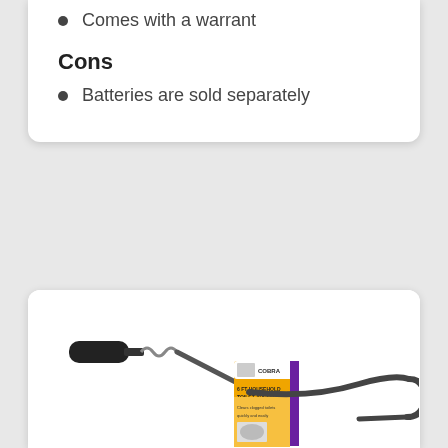Comes with a warrant
Cons
Batteries are sold separately
[Figure (photo): A Cobra brand toilet/drain auger with a black handle and curved metal snake, shown with its retail packaging which has a purple and yellow/orange label.]